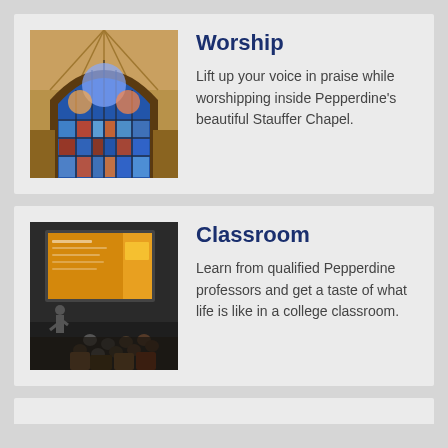[Figure (photo): Interior of Pepperdine's Stauffer Chapel showing a large stained glass arch window with colorful panels]
Worship
Lift up your voice in praise while worshipping inside Pepperdine's beautiful Stauffer Chapel.
[Figure (photo): Classroom scene with students seated facing a presenter at a projection screen showing a slideshow]
Classroom
Learn from qualified Pepperdine professors and get a taste of what life is like in a college classroom.